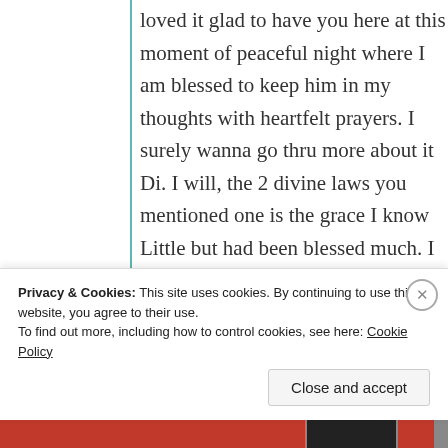loved it glad to have you here at this moment of peaceful night where I am blessed to keep him in my thoughts with heartfelt prayers. I surely wanna go thru more about it Di. I will, the 2 divine laws you mentioned one is the grace I know Little but had been blessed much. I would love to read for sure. Thanks again for taking your time to visit n share such priceless views n thoughts. Kindly accept my
Privacy & Cookies: This site uses cookies. By continuing to use this website, you agree to their use.
To find out more, including how to control cookies, see here: Cookie Policy